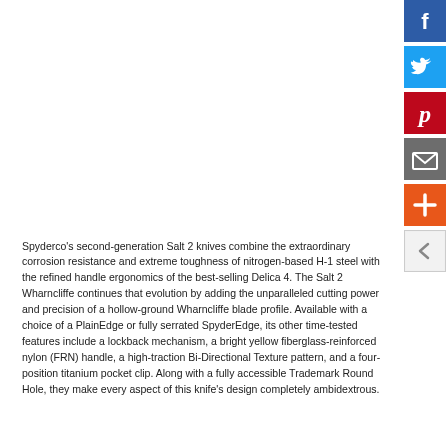[Figure (other): Social media sharing sidebar buttons: Facebook (blue), Twitter (blue), Pinterest (red), Email (gray), Add/Plus (red-orange), and a collapse/hide arrow button (white/gray outline). Positioned vertically on the right edge of the page.]
Spyderco's second-generation Salt 2 knives combine the extraordinary corrosion resistance and extreme toughness of nitrogen-based H-1 steel with the refined handle ergonomics of the best-selling Delica 4. The Salt 2 Wharncliffe continues that evolution by adding the unparalleled cutting power and precision of a hollow-ground Wharncliffe blade profile. Available with a choice of a PlainEdge or fully serrated SpyderEdge, its other time-tested features include a lockback mechanism, a bright yellow fiberglass-reinforced nylon (FRN) handle, a high-traction Bi-Directional Texture pattern, and a four-position titanium pocket clip. Along with a fully accessible Trademark Round Hole, they make every aspect of this knife's design completely ambidextrous.